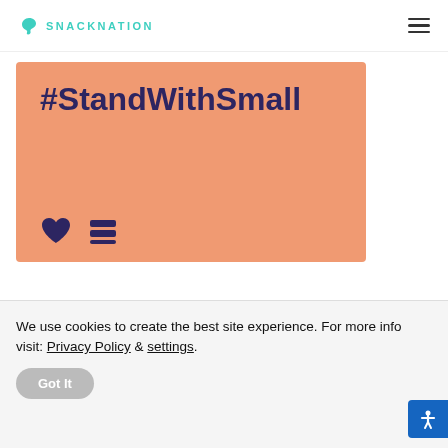SNACKNATION
[Figure (illustration): Orange background card with dark purple bold text '#StandWithSmall' and two icons (heart and a stack/layers icon) at the bottom left]
[Figure (logo): SnackNation logo with teal swirl icon and 'SNACKNATION' text, followed by partially visible 'Improve' heading and blue dotted arc decoration on the right]
We use cookies to create the best site experience. For more info visit: Privacy Policy & settings.
Got It